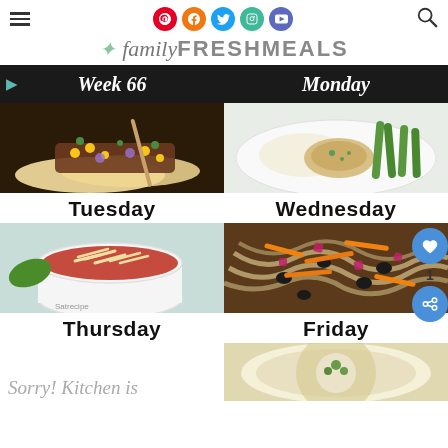familyFRESHMEALS
[Figure (screenshot): Week 66 meal plan grid showing Tuesday tacos, Wednesday chicken with rice and green beans, Thursday tomato soup, Friday pasta with chili toppings, and partial Saturday/Sunday images]
Tuesday
Wednesday
Thursday
Friday
Sorry! Kitchen is...